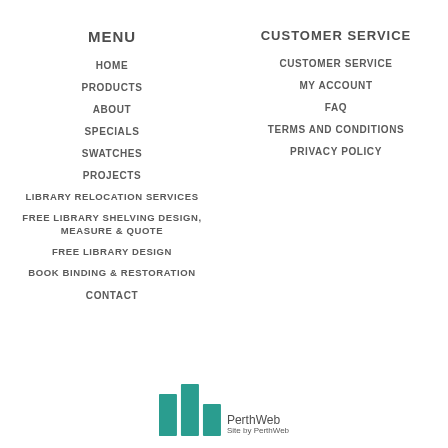MENU
HOME
PRODUCTS
ABOUT
SPECIALS
SWATCHES
PROJECTS
LIBRARY RELOCATION SERVICES
FREE LIBRARY SHELVING DESIGN, MEASURE & QUOTE
FREE LIBRARY DESIGN
BOOK BINDING & RESTORATION
CONTACT
CUSTOMER SERVICE
CUSTOMER SERVICE
MY ACCOUNT
FAQ
TERMS AND CONDITIONS
PRIVACY POLICY
[Figure (logo): PerthWeb logo with teal building icon and text 'PerthWeb Site by PerthWeb']